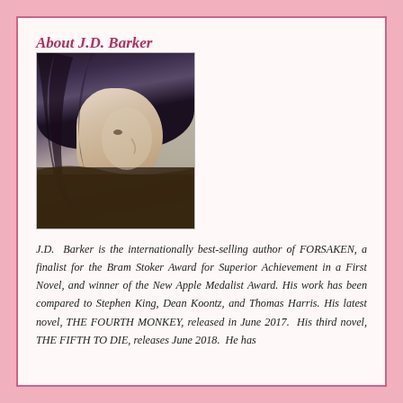About J.D. Barker
[Figure (photo): Side profile photograph of J.D. Barker, a person with dark wavy hair looking to the right, wearing a dark jacket, against a light background.]
J.D. Barker is the internationally best-selling author of FORSAKEN, a finalist for the Bram Stoker Award for Superior Achievement in a First Novel, and winner of the New Apple Medalist Award. His work has been compared to Stephen King, Dean Koontz, and Thomas Harris. His latest novel, THE FOURTH MONKEY, released in June 2017. His third novel, THE FIFTH TO DIE, releases June 2018. He has